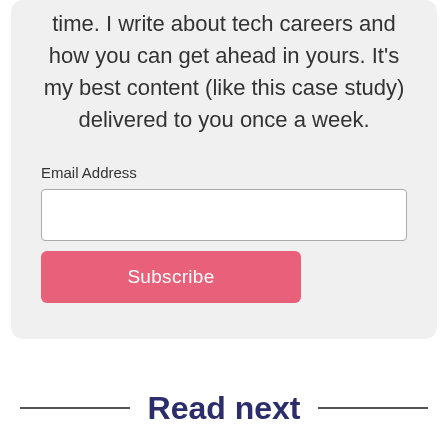time. I write about tech careers and how you can get ahead in yours. It's my best content (like this case study) delivered to you once a week.
Email Address
Subscribe
Read next